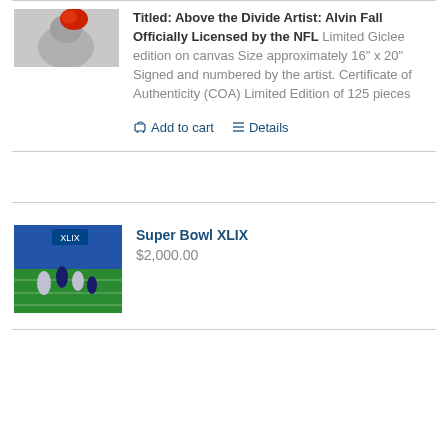[Figure (photo): Partial image of an NFL-themed artwork showing a player, cropped at top]
Titled: Above the Divide Artist: Alvin Fall Officially Licensed by the NFL Limited Giclee edition on canvas Size approximately 16" x 20" Signed and numbered by the artist. Certificate of Authenticity (COA) Limited Edition of 125 pieces
Add to cart   Details
[Figure (photo): Super Bowl XLIX football game artwork showing players on field in stadium]
Super Bowl XLIX
$2,000.00